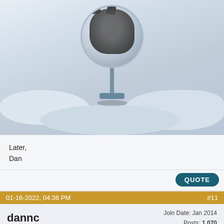[Figure (photo): A cat sitting in a circular mirror/globe on a stand, surrounded by a snowy landscape background.]
Later,
Dan
QUOTE
01-16-2022, 04:36 PM   #11
dannc   Join Date: Jan 2014  Posts: 1,070
Quote:
Originally Posted by Helmsman
That is a lot of juice per hour on a DC system. Will probably be five years or so, before the early adoption process is over and mainstream users and applications begin to come along. By then I am betting the energy use will come down. My understanding is the satellites are not stationary, so I